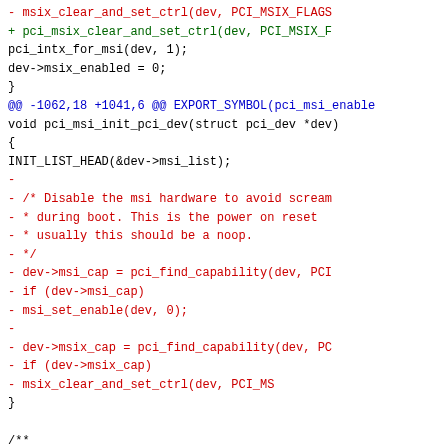[Figure (other): Code diff snippet showing removal of msix_clear_and_set_ctrl and addition of pci_msix_clear_and_set_ctrl, followed by removal of msi hardware disable block in pci_msi_init_pci_dev, and a new diff header for drivers/pci/pci.c]